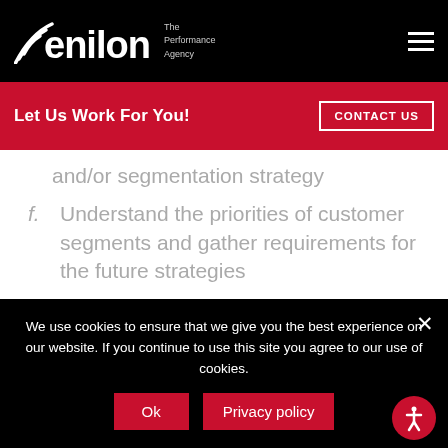enilon – The Performance Agency
Let Us Work For You!
CONTACT US
and/or segmentation strategy
f. Understand the priorities of customer segments and gather requirements for the future strategies
We use cookies to ensure that we give you the best experience on our website. If you continue to use this site you agree to our use of cookies.
Ok
Privacy policy